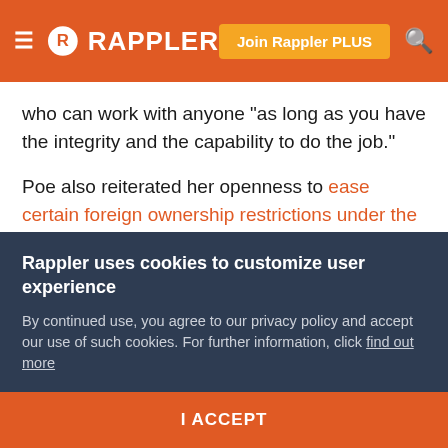RAPPLER
who can work with anyone "as long as you have the integrity and the capability to do the job."
Poe also reiterated her openness to ease certain foreign ownership restrictions under the Constitution that will lure investors to the country. She is not in favor of foreign land ownership, however.
Under the Aquino administration, the Philippine enjoyed a series of credit rating upgrades owing to its fiscal prudence and governance reforms, and has been recognized as
Rappler uses cookies to customize user experience
By continued use, you agree to our privacy policy and accept our use of such cookies. For further information, click find out more
I ACCEPT